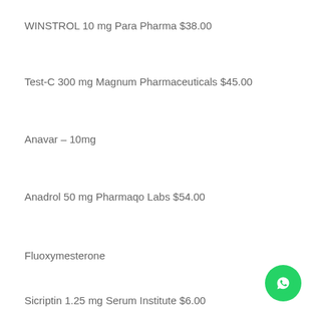WINSTROL 10 mg Para Pharma $38.00
Test-C 300 mg Magnum Pharmaceuticals $45.00
Anavar – 10mg
Anadrol 50 mg Pharmaqo Labs $54.00
Fluoxymesterone
Sicriptin 1.25 mg Serum Institute $6.00
[Figure (other): WhatsApp contact button (green circle with phone/chat icon)]